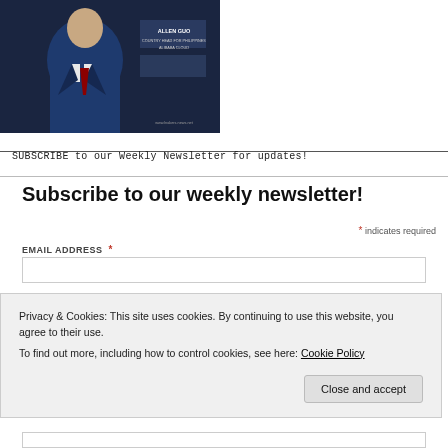[Figure (photo): Photo of Allen Guo, Country Head for Philippines, Alibaba Cloud, shown in a dark suit against a dark background with the website URL www.lnakers.com.net]
SUBSCRIBE to our Weekly Newsletter for updates!
Subscribe to our weekly newsletter!
* indicates required
EMAIL ADDRESS *
Privacy & Cookies: This site uses cookies. By continuing to use this website, you agree to their use.
To find out more, including how to control cookies, see here: Cookie Policy
Close and accept